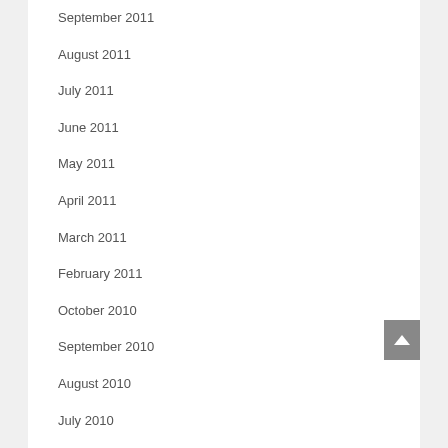September 2011
August 2011
July 2011
June 2011
May 2011
April 2011
March 2011
February 2011
October 2010
September 2010
August 2010
July 2010
June 2010
March 2010
February 2010